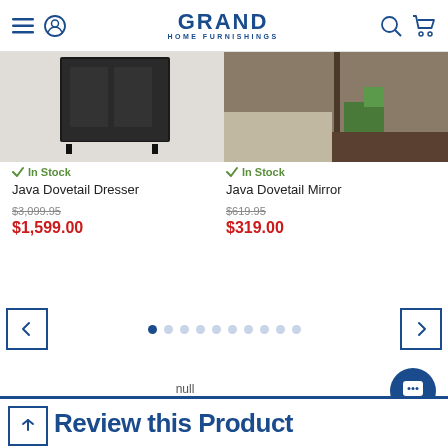GRAND HOME FURNISHINGS
[Figure (photo): Partial image of Java Dovetail Dresser - dark frame furniture piece]
[Figure (photo): Partial image of Java Dovetail Mirror with plant decor on wooden surface]
In Stock
Java Dovetail Dresser
$3,099.95
$1,599.00
In Stock
Java Dovetail Mirror
$619.95
$319.00
[Figure (other): Carousel navigation with left arrow, 10 pagination dots (first active), and right arrow]
null
Review this Product